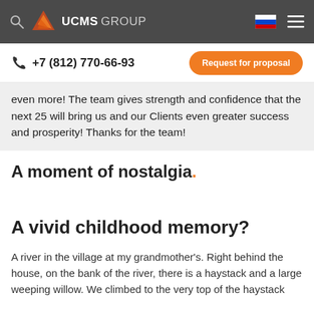UCMS GROUP
+7 (812) 770-66-93
even more! The team gives strength and confidence that the next 25 will bring us and our Clients even greater success and prosperity! Thanks for the team!
A moment of nostalgia.
A vivid childhood memory?
A river in the village at my grandmother's. Right behind the house, on the bank of the river, there is a haystack and a large weeping willow. We climbed to the very top of the haystack